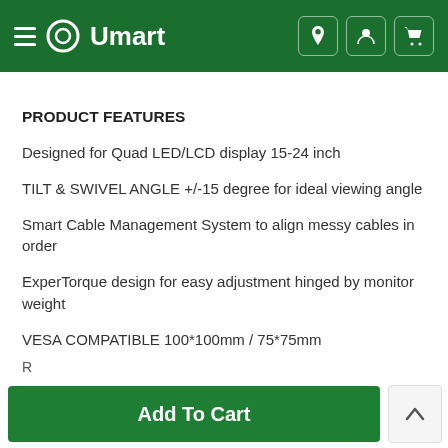Umart
PRODUCT FEATURES
Designed for Quad LED/LCD display 15-24 inch
TILT & SWIVEL ANGLE +/-15 degree for ideal viewing angle
Smart Cable Management System to align messy cables in order
ExperTorque design for easy adjustment hinged by monitor weight
VESA COMPATIBLE 100*100mm / 75*75mm
Add To Cart